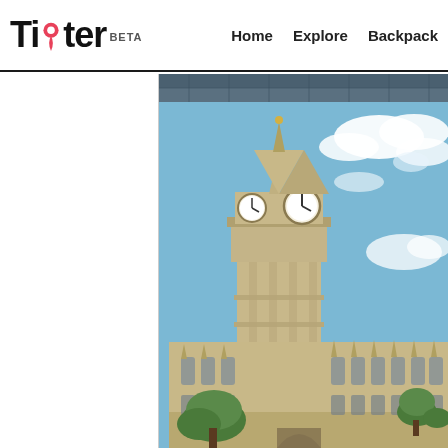Tipter BETA   Home   Explore   Backpack
[Figure (photo): Tipter travel website screenshot showing logo with map pin, navigation links (Home, Explore, Backpack), and a large photo of Big Ben and the Houses of Parliament in London against a blue cloudy sky]